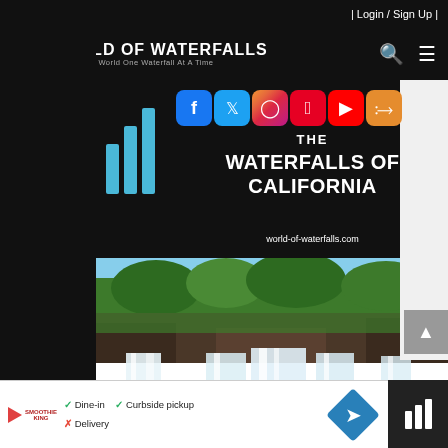| Login / Sign Up |
[Figure (logo): World of Waterfalls logo with three vertical blue bars and text 'World of Waterfalls — Explore The World One Waterfall At A Time']
[Figure (infographic): Black banner with World of Waterfalls logo bars, social media icons (Facebook, Twitter, Instagram, Pinterest, YouTube, RSS), title 'THE WATERFALLS OF CALIFORNIA', and URL 'world-of-waterfalls.com']
[Figure (photo): Photograph of Burney Falls or similar California waterfall with multiple cascades flowing over rocky cliff with green trees above]
[Figure (infographic): Advertisement bar: Smoothie King logo, dine-in check, curbside pickup check, delivery cross, blue diamond map icon, World of Waterfalls logo in dark box]